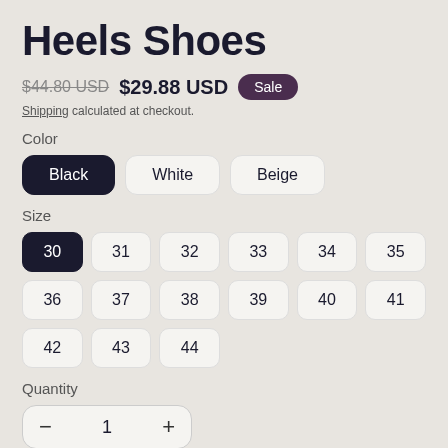Heels Shoes
$44.80 USD  $29.88 USD  Sale
Shipping calculated at checkout.
Color
Black (selected), White, Beige
Size
30 (selected), 31, 32, 33, 34, 35, 36, 37, 38, 39, 40, 41, 42, 43, 44
Quantity
1